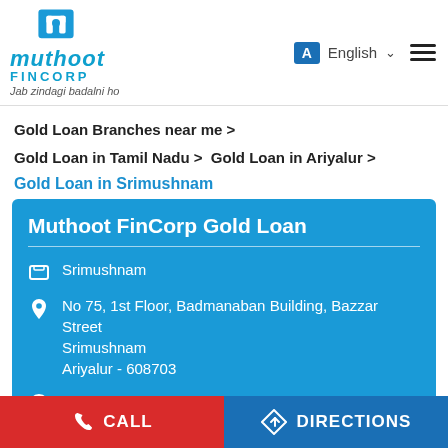[Figure (logo): Muthoot FinCorp logo with blue icon and tagline 'Jab zindagi badalni ho']
Gold Loan Branches near me >
Gold Loan in Tamil Nadu >  Gold Loan in Ariyalur >
Gold Loan in Srimushnam
Muthoot FinCorp Gold Loan
Srimushnam
No 75, 1st Floor, Badmanaban Building, Bazzar Street
Srimushnam
Ariyalur - 608703
Opens at 09:30 AM
CALL
DIRECTIONS